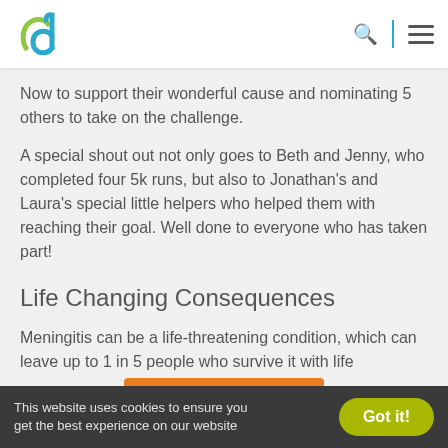Logo and navigation header
Now to support their wonderful cause and nominating 5 others to take on the challenge.
A special shout out not only goes to Beth and Jenny, who completed four 5k runs, but also to Jonathan's and Laura's special little helpers who helped them with reaching their goal. Well done to everyone who has taken part!
Life Changing Consequences
Meningitis can be a life-threatening condition, which can leave up to 1 in 5 people who survive it with life
This website uses cookies to ensure you get the best experience on our website   Got it!